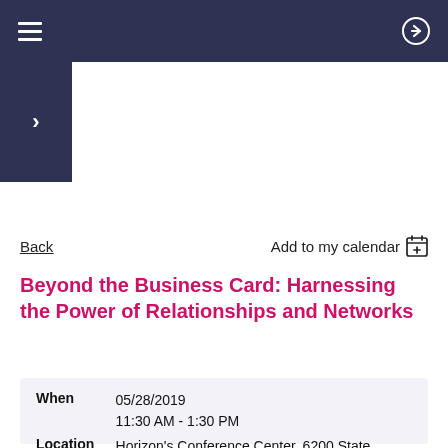Navigation bar with hamburger menu and login icon
>
Back    Add to my calendar
Beyond the Business Card: Harnessing the Power of Relationships and Networks
| Field | Value |
| --- | --- |
| When | 05/28/2019
11:30 AM - 1:30 PM |
| Location | Horizon's Conference Center, 6200 State... |